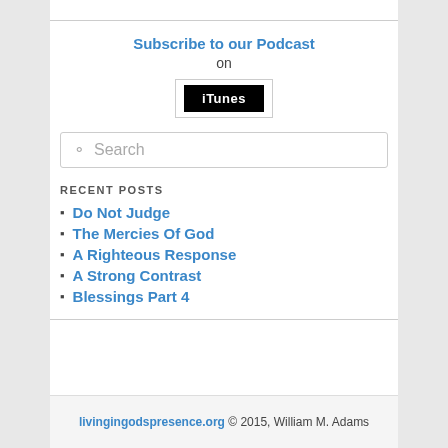Subscribe to our Podcast
on
[Figure (other): iTunes button: black rectangle with white 'iTunes' text, inside a light-bordered box]
Search
RECENT POSTS
Do Not Judge
The Mercies Of God
A Righteous Response
A Strong Contrast
Blessings Part 4
livingingodspresence.org © 2015, William M. Adams